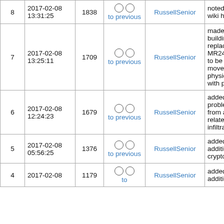| # | Date | Size | Compare | User | Comment |
| --- | --- | --- | --- | --- | --- |
| 8 | 2017-02-08 13:31:25 | 1838 | ○ ○ to previous | RussellSenior | noted small wiki header fix |
| 7 | 2017-02-08 13:25:11 | 1709 | ○ ○ to previous | RussellSenior | made contact, building a replacement MR24, hoping to be able to move it into the physical space with people |
| 6 | 2017-02-08 12:24:23 | 1679 | ○ ○ to previous | RussellSenior | added a problem report from a node related to water infiltration. |
| 5 | 2017-02-08 05:56:25 | 1376 | ○ ○ to previous | RussellSenior | added some additional crypto note |
| 4 | 2017-02-08 | 1179 | ○ ○ to | RussellSenior | added some additional |